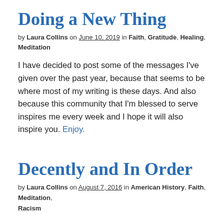Doing a New Thing
by Laura Collins on June 10, 2019 in Faith, Gratitude, Healing, Meditation
I have decided to post some of the messages I've given over the past year, because that seems to be where most of my writing is these days. And also because this community that I'm blessed to serve inspires me every week and I hope it will also inspire you. Enjoy.
Decently and In Order
by Laura Collins on August 7, 2016 in American History, Faith, Meditation, Racism
If you have half an hour to kill (yeah, it's kind of long), here's the talk I had the pleasure of giving at Unity of the Blue Ridge